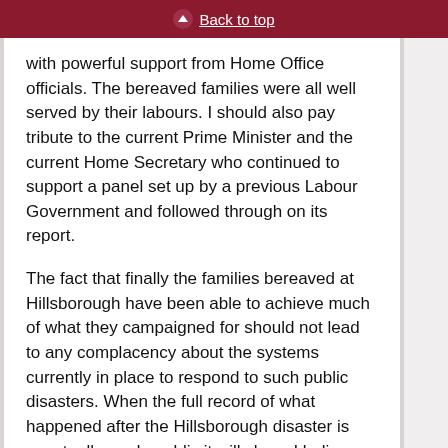Back to top
with powerful support from Home Office officials. The bereaved families were all well served by their labours. I should also pay tribute to the current Prime Minister and the current Home Secretary who continued to support a panel set up by a previous Labour Government and followed through on its report.
The fact that finally the families bereaved at Hillsborough have been able to achieve much of what they campaigned for should not lead to any complacency about the systems currently in place to respond to such public disasters. When the full record of what happened after the Hillsborough disaster is eventually made public it will show, I believe, how the successful outcome of the